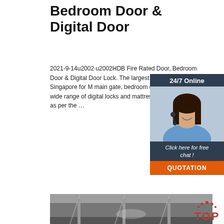Bedroom Door & Digital Door
2021-9-14u2002·u2002HDB Fire Rated Door, Bedroom Door & Digital Door Lock. The largest showroom in Singapore for M main gate, bedroom door, toilet doors, bi wide range of digital locks and mattresse can be combined as per the …
[Figure (screenshot): Chat widget with 24/7 Online label, woman with headset, Click here for free chat! text and QUOTATION button]
Get Price
[Figure (photo): Industrial warehouse or showroom interior photo with steel structure]
[Figure (logo): TOP badge logo in red/orange dots]